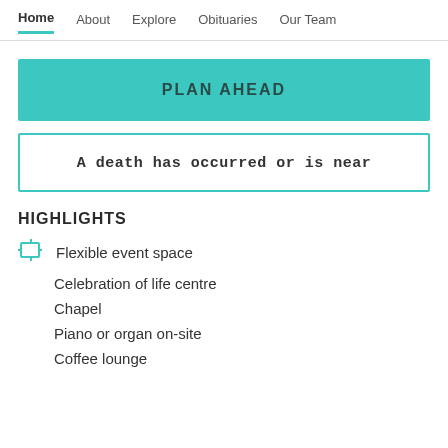Home  About  Explore  Obituaries  Our Team
PLAN AHEAD
A death has occurred or is near
HIGHLIGHTS
Flexible event space
Celebration of life centre
Chapel
Piano or organ on-site
Coffee lounge